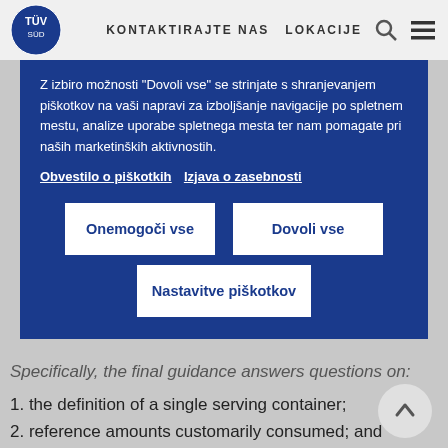KONTAKTIRAJTE NAS  LOKACIJE
Z izbiro možnosti "Dovoli vse" se strinjate s shranjevanjem piškotkov na vaši napravi za izboljšanje navigacije po spletnem mestu, analize uporabe spletnega mesta ter nam pomagate pri naših marketinških aktivnostih. Obvestilo o piškotkih  Izjava o zasebnosti
Onemogoči vse
Dovoli vse
Nastavitve piškotkov
Specifically, the final guidance answers questions on:
1. the definition of a single serving container;
2. reference amounts customarily consumed; and
3. dual-column labelling, and formatting issues for products with limited space for nutrition labelling